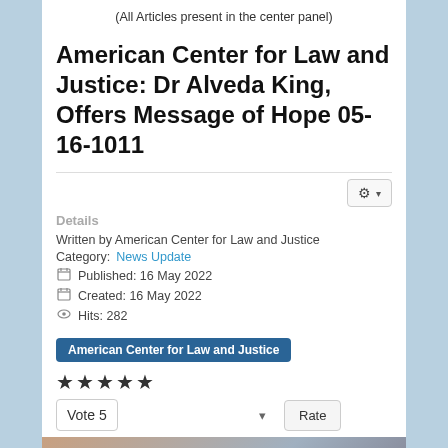(All Articles present in the center panel)
American Center for Law and Justice: Dr Alveda King, Offers Message of Hope 05-16-1011
Written by American Center for Law and Justice
Category: News Update
Published: 16 May 2022
Created: 16 May 2022
Hits: 282
American Center for Law and Justice
★★★★★
Vote 5 | Rate
[Figure (photo): Partial photo visible at bottom of page, showing a person with reddish/blonde hair against a blurred outdoor background. A teal chat bubble icon overlaps the bottom right corner.]